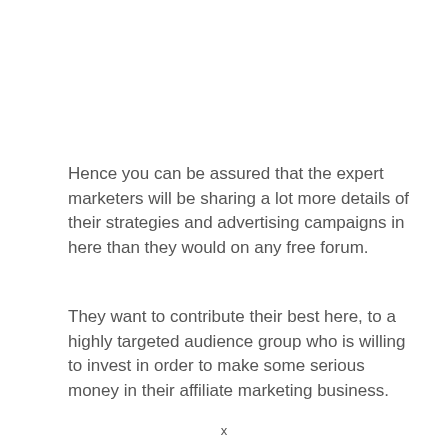Hence you can be assured that the expert marketers will be sharing a lot more details of their strategies and advertising campaigns in here than they would on any free forum.
They want to contribute their best here, to a highly targeted audience group who is willing to invest in order to make some serious money in their affiliate marketing business.
x